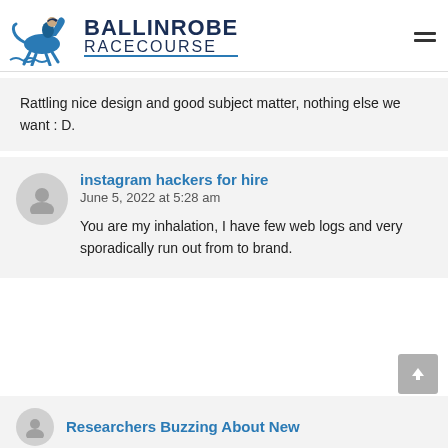BALLINROBE RACECOURSE
Rattling nice design and good subject matter, nothing else we want : D.
instagram hackers for hire
June 5, 2022 at 5:28 am
You are my inhalation, I have few web logs and very sporadically run out from to brand.
Researchers Buzzing About New